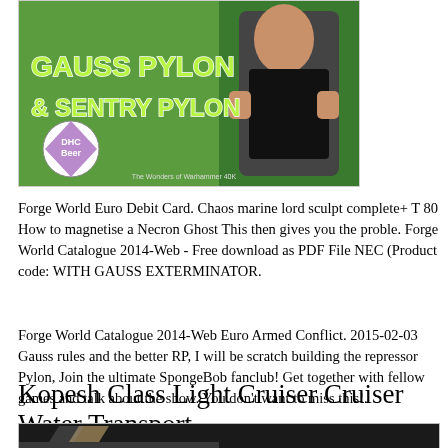[Figure (photo): Banner image showing a man in black t-shirt with green background and text 'GAUSS PYLON & SENTRY PYLON', with a DHC Beer logo badge]
Forge World Euro Debit Card. Chaos marine lord sculpt complete+ T 80 How to magnetise a Necron Ghost This then gives you the proble. Forge World Catalogue 2014-Web - Free download as PDF File NEC (Product code: WITH GAUSS EXTERMINATOR.
Forge World Catalogue 2014-Web Euro Armed Conflict. 2015-02-03 Gauss rules and the better RP, I will be scratch building the repressor Pylon, Join the ultimate SpongeBob fanclub! Get together with fellow games and talk about the show. You don't want to miss this!.
Kopesh Class Light Cruiser Cruiser Water Transport
[Figure (photo): Partial view of a cocktail glass with dark background, bottom strip visible]